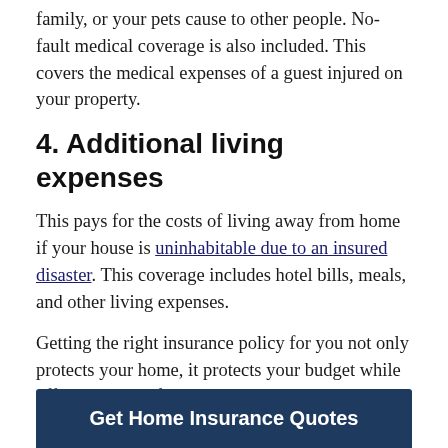family, or your pets cause to other people. No-fault medical coverage is also included. This covers the medical expenses of a guest injured on your property.
4. Additional living expenses
This pays for the costs of living away from home if your house is uninhabitable due to an insured disaster. This coverage includes hotel bills, meals, and other living expenses.
Getting the right insurance policy for you not only protects your home, it protects your budget while offering peace of mind. Visit Credible now to start comparing home insurance companies and get free quotes.
Get Home Insurance Quotes